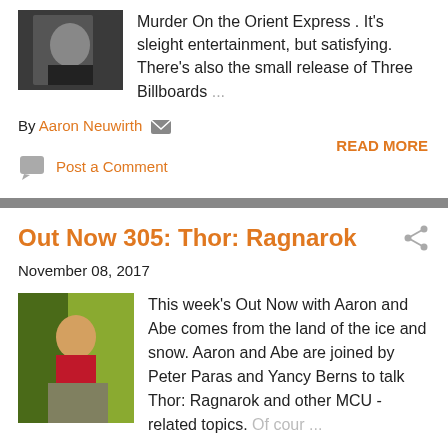Murder On the Orient Express . It's sleight entertainment, but satisfying. There's also the small release of Three Billboards ...
By Aaron Neuwirth
READ MORE
Post a Comment
Out Now 305: Thor: Ragnarok
November 08, 2017
[Figure (photo): Movie still photo showing Thor character with green and yellow background]
This week's Out Now with Aaron and Abe comes from the land of the ice and snow. Aaron and Abe are joined by Peter Paras and Yancy Berns to talk Thor: Ragnarok and other MCU -related topics. Of cour ...